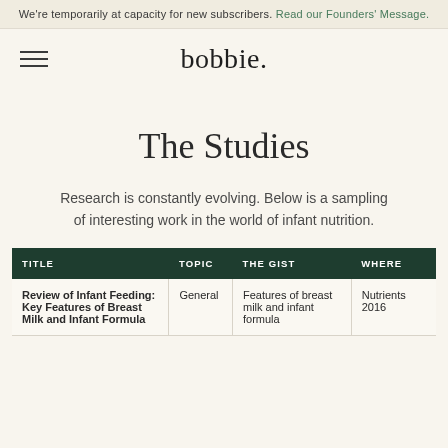We're temporarily at capacity for new subscribers. Read our Founders' Message.
[Figure (logo): Bobbie brand logo with hamburger menu icon on left]
The Studies
Research is constantly evolving. Below is a sampling of interesting work in the world of infant nutrition.
| TITLE | TOPIC | THE GIST | WHERE |
| --- | --- | --- | --- |
| Review of Infant Feeding: Key Features of Breast Milk and Infant Formula | General | Features of breast milk and infant formula | Nutrients 2016 |